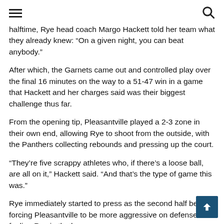Navigation menu and search icons
halftime, Rye head coach Margo Hackett told her team what they already knew: “On a given night, you can beat anybody.”
After which, the Garnets came out and controlled play over the final 16 minutes on the way to a 51-47 win in a game that Hackett and her charges said was their biggest challenge thus far.
From the opening tip, Pleasantville played a 2-3 zone in their own end, allowing Rye to shoot from the outside, with the Panthers collecting rebounds and pressing up the court.
“They’re five scrappy athletes who, if there’s a loose ball, are all on it,” Hackett said. “And that’s the type of game this was.”
Rye immediately started to press as the second half began, forcing Pleasantville to be more aggressive on defense and fouling Rye in the bonus.